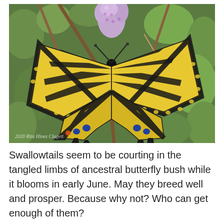[Figure (photo): A yellow and black Eastern Tiger Swallowtail butterfly with wings spread open, perched on purple butterfly bush flowers, with green foliage in the background. Watermark reads '2020 Rita Hines Clagett' in bottom left corner.]
Swallowtails seem to be courting in the tangled limbs of ancestral butterfly bush while it blooms in early June. May they breed well and prosper. Because why not? Who can get enough of them?